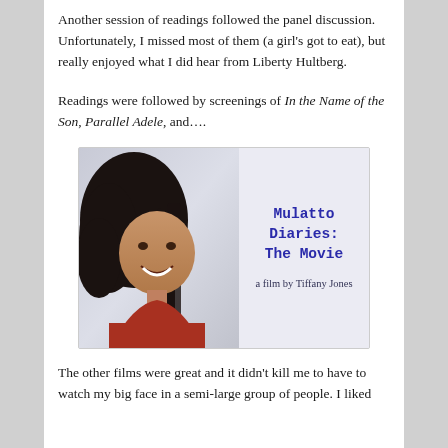Another session of readings followed the panel discussion.  Unfortunately, I missed most of them (a girl's got to eat), but really enjoyed what I did hear from Liberty Hultberg.
Readings were followed by screenings of In the Name of the Son, Parallel Adele, and….
[Figure (photo): Movie poster for 'Mulatto Diaries: The Movie' - a film by Tiffany Jones. Shows a smiling woman with curly dark hair on the left half, and title text on the right half against a light background.]
The other films were great and it didn't kill me to have to watch my big face in a semi-large group of people.  I liked